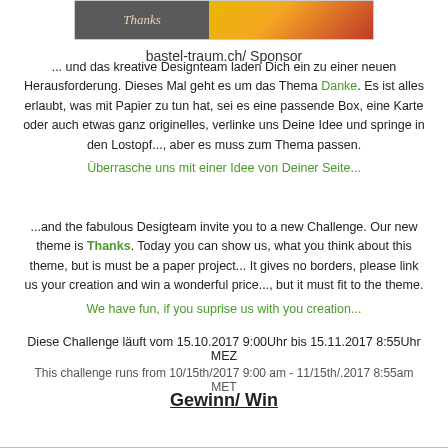[Figure (photo): Sponsor box with 'Thanks' text on dark background and autumn flowers/pumpkin image]
bastel-traum.ch/ Sponsor
... und das kreative Designteam laden Dich ein zu einer neuen Herausforderung. Dieses Mal geht es um das Thema Danke. Es ist alles erlaubt, was mit Papier zu tun hat, sei es eine passende Box, eine Karte oder auch etwas ganz originelles, verlinke uns Deine Idee und springe in den Lostopf..., aber es muss zum Thema passen.
Überrasche uns mit einer Idee von Deiner Seite...
...and the fabulous Desigteam invite you to a new Challenge. Our new theme is Thanks. Today you can show us, what you think about this theme, but is must be a paper project... It gives no borders, please link us your creation and win a wonderful price..., but it must fit to the theme.
We have fun, if you suprise us with you creation...
Diese Challenge läuft vom 15.10.2017 9:00Uhr bis 15.11.2017 8:55Uhr MEZ
This challenge runs from 10/15th/2017 9:00 am - 11/15th/.2017 8:55am MET
Gewinn/ Win